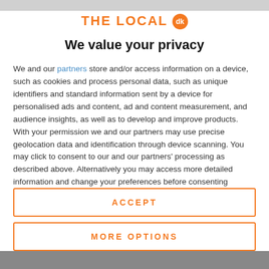[Figure (logo): THE LOCAL dk logo with orange text and orange circular badge with 'dk']
We value your privacy
We and our partners store and/or access information on a device, such as cookies and process personal data, such as unique identifiers and standard information sent by a device for personalised ads and content, ad and content measurement, and audience insights, as well as to develop and improve products. With your permission we and our partners may use precise geolocation data and identification through device scanning. You may click to consent to our and our partners' processing as described above. Alternatively you may access more detailed information and change your preferences before consenting